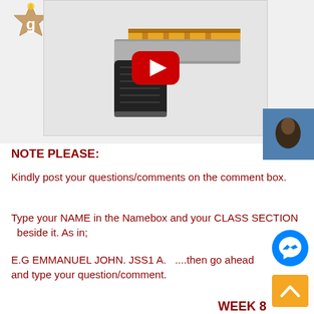[Figure (screenshot): Screenshot of a YouTube video thumbnail showing an illustrated/cartoon gun (Glock-style pistol with gold/orange slide) with a red YouTube play button overlay. Top left shows a cork-board badge with letter 'g'. Top right shows a small webcam preview of a person.]
NOTE PLEASE:
Kindly post your questions/comments on the comment box.
Type your NAME in the Namebox and your CLASS SECTION  beside it. As in;
E.G EMMANUEL JOHN. JSS1 A.  ....then go ahead and type your question/comment.